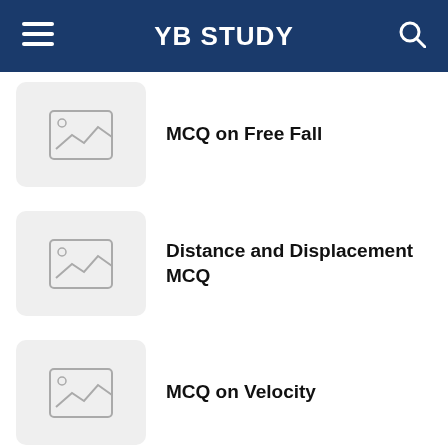YB STUDY
MCQ on Free Fall
Distance and Displacement MCQ
MCQ on Velocity
MCQ on Acceleration
Scalar and Vector MCQ NEET Pdf